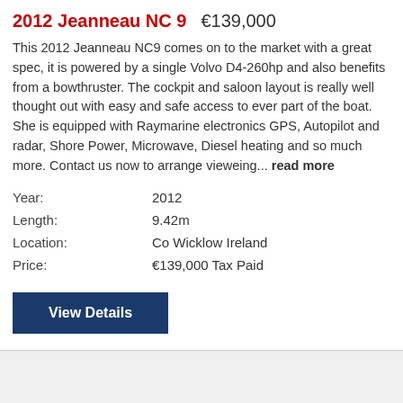2012 Jeanneau NC 9   €139,000
This 2012 Jeanneau NC9 comes on to the market with a great spec, it is powered by a single Volvo D4-260hp and also benefits from a bowthruster. The cockpit and saloon layout is really well thought out with easy and safe access to ever part of the boat. She is equipped with Raymarine electronics GPS, Autopilot and radar, Shore Power, Microwave, Diesel heating and so much more. Contact us now to arrange vieweing... read more
Year:     2012
Length:   9.42m
Location: Co Wicklow Ireland
Price:    €139,000 Tax Paid
View Details
[Figure (photo): Photo of a 2012 Jeanneau NC9 motorboat moored at a marina with trees in the background under a blue sky]